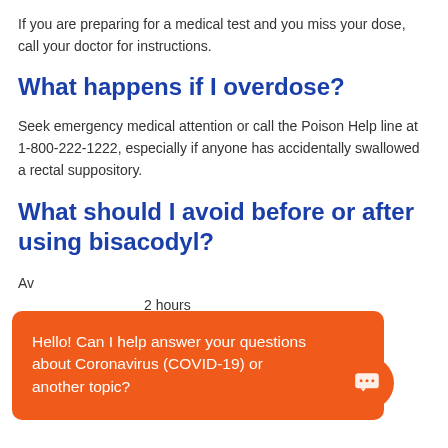If you are preparing for a medical test and you miss your dose, call your doctor for instructions.
What happens if I overdose?
Seek emergency medical attention or call the Poison Help line at 1-800-222-1222, especially if anyone has accidentally swallowed a rectal suppository.
What should I avoid before or after using bisacodyl?
Avoid... 2 hours after...
Avoid... before you take bisacodyl by mouth.
[Figure (other): Chat overlay popup with orange background reading: Hello! Can I help answer your questions about Coronavirus (COVID-19) or another topic? with a chat bubble icon button on the right.]